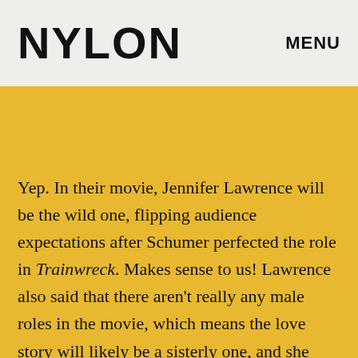NYLON
MENU
Yep. In their movie, Jennifer Lawrence will be the wild one, flipping audience expectations after Schumer perfected the role in Trainwreck. Makes sense to us! Lawrence also said that there aren't really any male roles in the movie, which means the love story will likely be a sisterly one, and she described a story that is now part of Hollywood lore—how the two came together to form this ultra